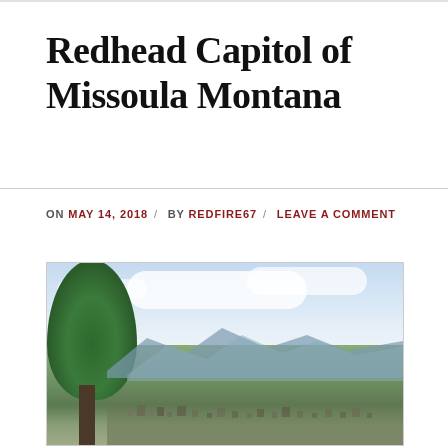Redhead Capitol of Missoula Montana
ON MAY 14, 2018 / BY REDFIRE67 / LEAVE A COMMENT
[Figure (photo): Aerial view of Missoula, Montana from a hillside overlook, with tall conifer trees in the foreground, the city spread across the valley in the middle ground, surrounding mountains in the background, and a partly cloudy blue sky above.]